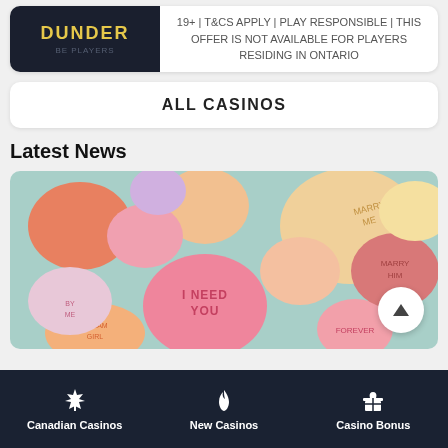[Figure (logo): Dunder casino logo on dark background with yellow DUNDER text]
19+ | T&CS APPLY | PLAY RESPONSIBLE | THIS OFFER IS NOT AVAILABLE FOR PLAYERS RESIDING IN ONTARIO
ALL CASINOS
Latest News
[Figure (photo): Colorful candy hearts with messages including I NEED YOU, FOREVER, DREAM GIRL, MARRY ME, HAVE FUN]
Canadian Casinos | New Casinos | Casino Bonus